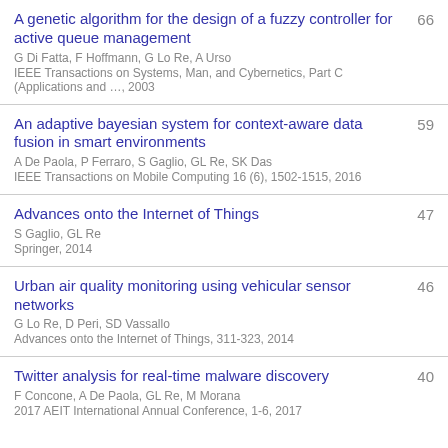A genetic algorithm for the design of a fuzzy controller for active queue management
G Di Fatta, F Hoffmann, G Lo Re, A Urso
IEEE Transactions on Systems, Man, and Cybernetics, Part C (Applications and …, 2003
66
An adaptive bayesian system for context-aware data fusion in smart environments
A De Paola, P Ferraro, S Gaglio, GL Re, SK Das
IEEE Transactions on Mobile Computing 16 (6), 1502-1515, 2016
59
Advances onto the Internet of Things
S Gaglio, GL Re
Springer, 2014
47
Urban air quality monitoring using vehicular sensor networks
G Lo Re, D Peri, SD Vassallo
Advances onto the Internet of Things, 311-323, 2014
46
Twitter analysis for real-time malware discovery
F Concone, A De Paola, GL Re, M Morana
2017 AEIT International Annual Conference, 1-6, 2017
40